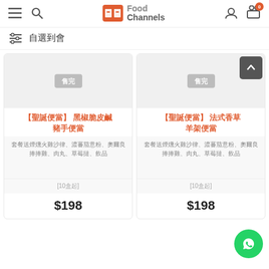Food Channels
自選到會
[Figure (screenshot): Product card: 【聖誕便當】黑椒脆皮鹹豬手便當, sold out badge, description text, [10盒起], $198]
[Figure (screenshot): Product card: 【聖誕便當】法式香草羊架便當, sold out badge, description text, [10盒起], $198]